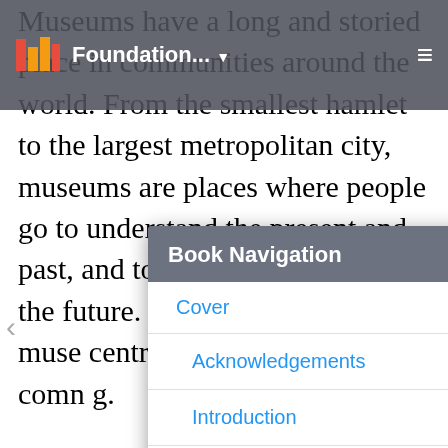Foundation...
Museums have a long and storied place in communities around the world. From the smallest hamlet to the largest metropolitan city, museums are places where people go to understand the present and past, and to gain perspective on the future. Many museums allow museums to be centric organizations that help museums serve the community.
[Figure (screenshot): Book Navigation modal overlay with links: Cover, Acknowledgements, Introduction, List of Authors]
In this chapter we will address why and how a museum may use instructional design principles to understand its purpose, hone its mission, and create environments and programs that matter to